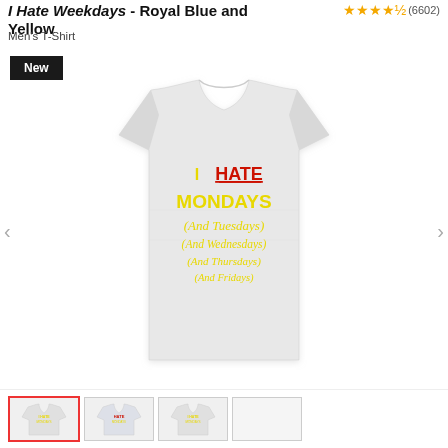I Hate Weekdays - Royal Blue and Yellow
Men's T-Shirt
★★★★½ (6602)
[Figure (photo): A light grey heather men's t-shirt with yellow and red text reading: I HATE MONDAYS (And Tuesdays) (And Wednesdays) (And Thursdays) (And Fridays)]
New
[Figure (photo): Thumbnail strip showing color variants of the t-shirt design]